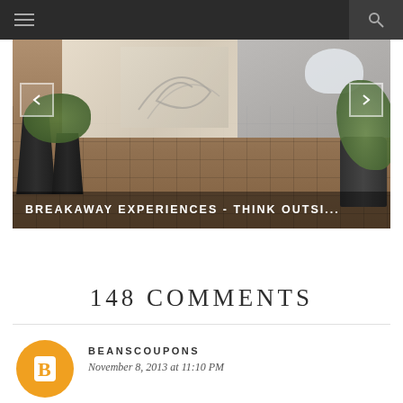Navigation bar with menu and search icons
[Figure (photo): A hotel or interior lobby scene with tiled floor, decorative vases with plants, wall art in background, and navigation arrows on left and right sides with a caption overlay reading 'BREAKAWAY EXPERIENCES - THINK OUTSI...']
148 COMMENTS
BEANSCOUPONS — November 8, 2013 at 11:10 PM